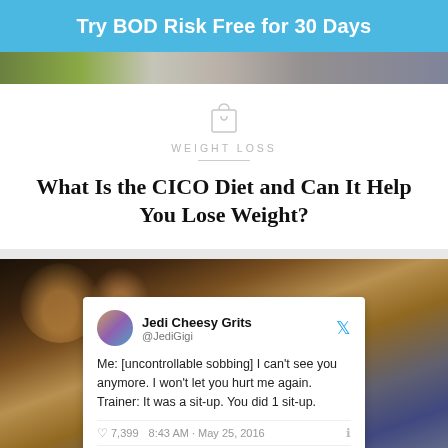Try BOD Risk Free for 30 Days
[Figure (photo): Partial image strip showing food and a tablet/phone on a surface]
WEIGHT LOSS
What Is the CICO Diet and Can It Help You Lose Weight?
[Figure (screenshot): Tweet from Jedi Cheesy Grits (@JediGigi): Me: [uncontrollable sobbing] I can't see you anymore. I won't let you hurt me again. Trainer: It was a sit-up. You did 1 sit-up. 7,399 likes 8:43 AM - May 25, 2016. 4,178 people are talking about this. Background is a blurred gym scene.]